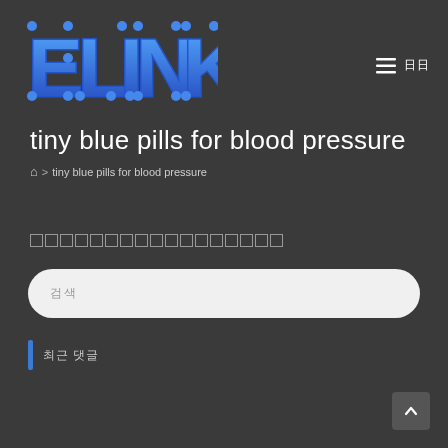[Figure (logo): ELINK logo with blue stylized letters connected by nodes on dark background]
tiny blue pills for blood pressure
🏠 > tiny blue pills for blood pressure
□□□□□□□□□□□□□□□□□
검색 (search bar placeholder)
최근 댓글